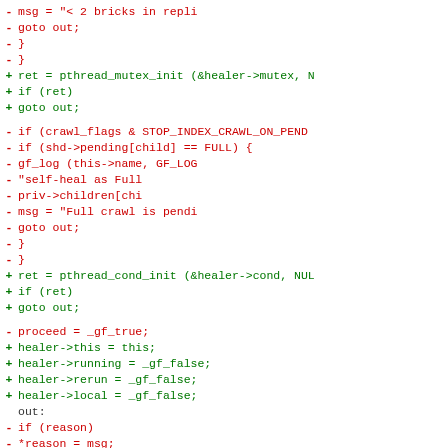[Figure (screenshot): Code diff showing removed lines (red, prefixed with -) and added lines (green, prefixed with +) in a source file. Content includes pthread_mutex_init, crawl_flags checks, pthread_cond_init, healer struct assignments, and out: label with reason/return statements.]